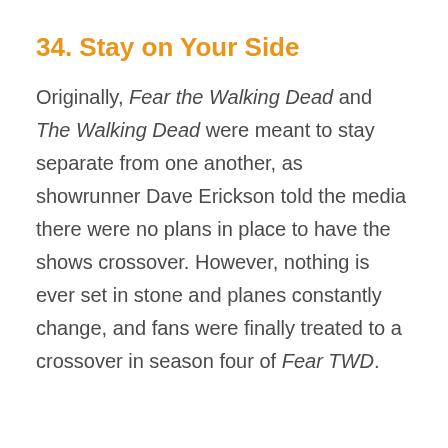34. Stay on Your Side
Originally, Fear the Walking Dead and The Walking Dead were meant to stay separate from one another, as showrunner Dave Erickson told the media there were no plans in place to have the shows crossover. However, nothing is ever set in stone and planes constantly change, and fans were finally treated to a crossover in season four of Fear TWD.